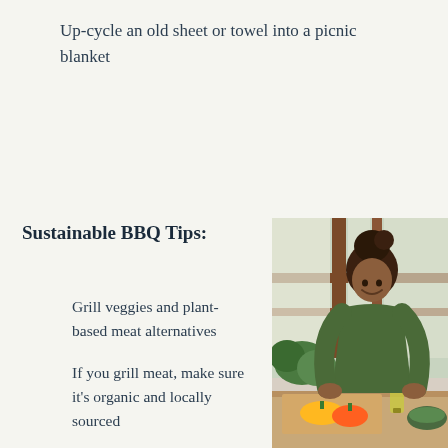Up-cycle an old sheet or towel into a picnic blanket
Sustainable BBQ Tips:
Grill veggies and plant-based meat alternatives
If you grill meat, make sure it's organic and locally sourced
[Figure (photo): Woman smiling and chopping vegetables at a kitchen counter with peppers, greens, and olive oil visible]